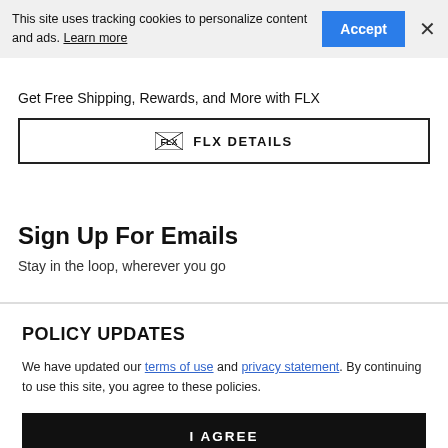This site uses tracking cookies to personalize content and ads. Learn more
Get Free Shipping, Rewards, and More with FLX
FLX DETAILS
Sign Up For Emails
Stay in the loop, wherever you go
POLICY UPDATES
We have updated our terms of use and privacy statement. By continuing to use this site, you agree to these policies.
I AGREE